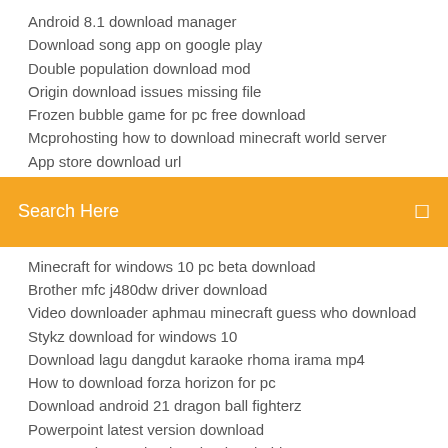Android 8.1 download manager
Download song app on google play
Double population download mod
Origin download issues missing file
Frozen bubble game for pc free download
Mcprohosting how to download minecraft world server
App store download url
[Figure (screenshot): Orange/yellow search bar with text 'Search Here' and a search icon on the right]
Minecraft for windows 10 pc beta download
Brother mfc j480dw driver download
Video downloader aphmau minecraft guess who download
Stykz download for windows 10
Download lagu dangdut karaoke rhoma irama mp4
How to download forza horizon for pc
Download android 21 dragon ball fighterz
Powerpoint latest version download
Pass revelator suite download android
Autodesk remake apk download